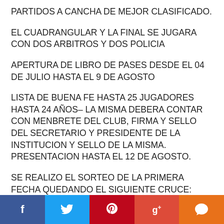PARTIDOS A CANCHA DE MEJOR CLASIFICADO.
EL CUADRANGULAR Y LA FINAL SE JUGARA CON DOS ARBITROS Y DOS POLICIA
APERTURA DE LIBRO DE PASES DESDE EL 04 DE JULIO HASTA EL 9 DE AGOSTO
LISTA DE BUENA FE HASTA 25 JUGADORES HASTA 24 AÑOS– LA MISMA DEBERA CONTAR CON MENBRETE DEL CLUB, FIRMA Y SELLO DEL SECRETARIO Y PRESIDENTE DE LA INSTITUCION Y SELLO DE LA MISMA. PRESENTACION HASTA EL 12 DE AGOSTO.
SE REALIZO EL SORTEO DE LA PRIMERA FECHA QUEDANDO EL SIGUIENTE CRUCE:
f  t  ✦  g+  💬